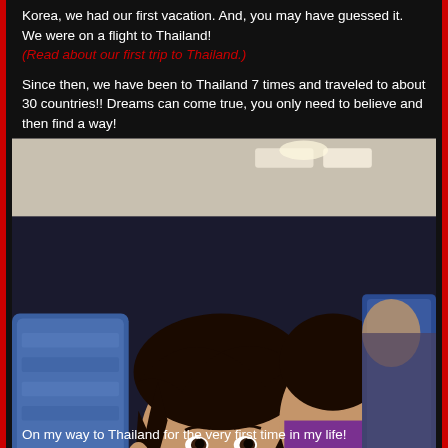Korea, we had our first vacation. And, you may have guessed it. We were on a flight to Thailand!
(Read about our first trip to Thailand.)

Since then, we have been to Thailand 7 times and traveled to about 30 countries!! Dreams can come true, you only need to believe and then find a way!
[Figure (photo): Woman in purple hoodie seated on an airplane, turning to face the camera, with blue airplane seats and other passengers visible in the background.]
On my way to Thailand for the very first time in my life!